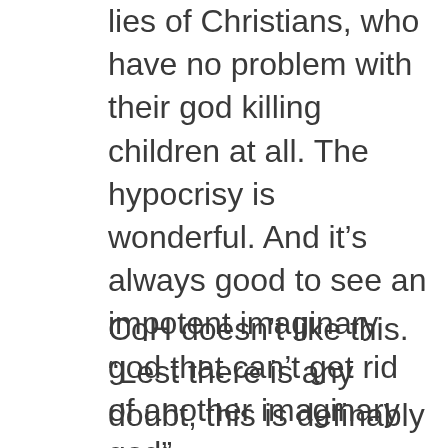lies of Christians, who have no problem with their god killing children at all. The hypocrisy is wonderful. And it's always good to see an impotent imaginary god that can't get rid of another imaginary god”
CoH doesn’t like this. “Lest there is any doubt, this is definably not how anyone